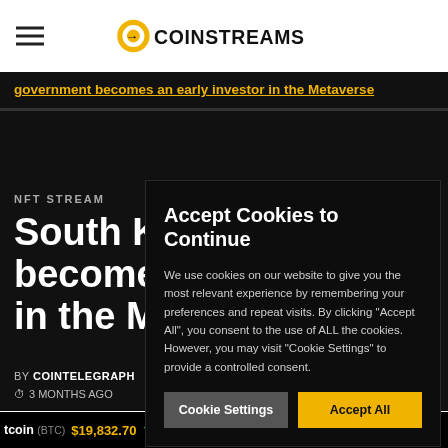[Figure (logo): Coinstreams logo with yellow circle icon and bold black COINSTREAMS text]
government becomes an early investor in the Metaverse
NFT STREAM
South K
becomes
in the M
BY COINTELEGRAPH
3 MONTHS AGO
Accept Cookies to Continue

We use cookies on our website to give you the most relevant experience by remembering your preferences and repeat visits. By clicking "Accept All", you consent to the use of ALL the cookies. However, you may visit "Cookie Settings" to provide a controlled consent.

Cookie Settings | Accept All
tcoin (BTC) $19,832.70 ↑ 0.24%   Ethereum (ETH) $1,571